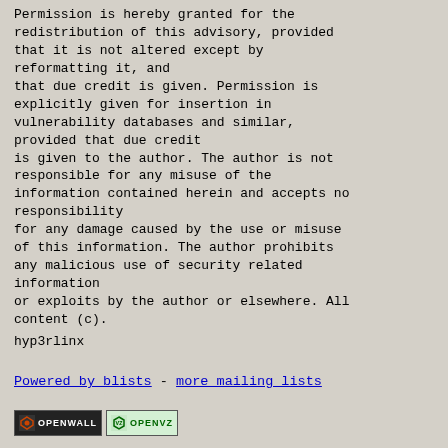Permission is hereby granted for the redistribution of this advisory, provided that it is not altered except by reformatting it, and that due credit is given. Permission is explicitly given for insertion in vulnerability databases and similar, provided that due credit is given to the author. The author is not responsible for any misuse of the information contained herein and accepts no responsibility for any damage caused by the use or misuse of this information. The author prohibits any malicious use of security related information or exploits by the author or elsewhere. All content (c).
hyp3rlinx
Powered by blists - more mailing lists
[Figure (logo): Openwall logo badge and OpenVZ logo badge]